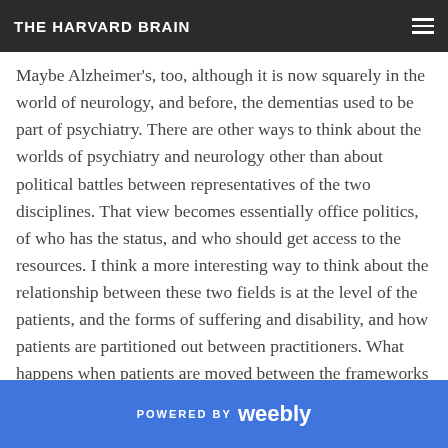THE HARVARD BRAIN
Maybe Alzheimer's, too, although it is now squarely in the world of neurology, and before, the dementias used to be part of psychiatry. There are other ways to think about the worlds of psychiatry and neurology other than about political battles between representatives of the two disciplines. That view becomes essentially office politics, of who has the status, and who should get access to the resources. I think a more interesting way to think about the relationship between these two fields is at the level of the patients, and the forms of suffering and disability, and how patients are partitioned out between practitioners. What happens when patients are moved between the frameworks of one field into the frameworks of another?
POWERED BY weebly